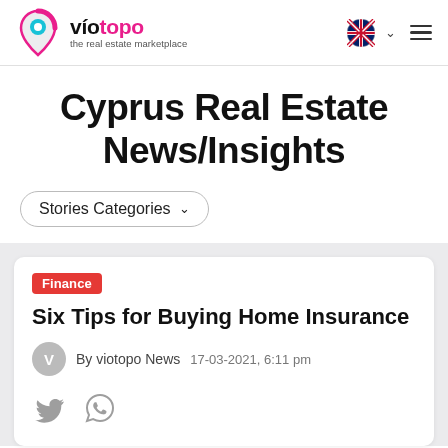viotopo – the real estate marketplace
Cyprus Real Estate News/Insights
Stories Categories
Finance
Six Tips for Buying Home Insurance
By viotopo News   17-03-2021, 6:11 pm